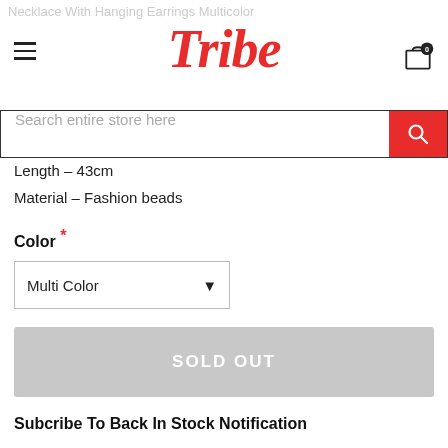Necklace With Hanging Earrings Multicolor — Tribe
[Figure (logo): Tribe brand logo in red italic serif font]
[Figure (other): Search bar with red search button and magnifying glass icon]
Length – 43cm
Material – Fashion beads
Color *
Multi Color (dropdown)
SOLD OUT
Subcribe To Back In Stock Notification